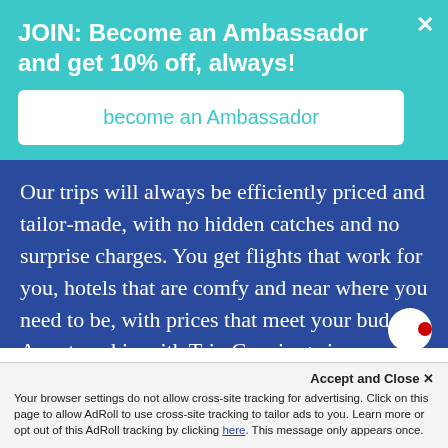JOIN: Become an Ambassador and get 10% off, always!
become an Ambassador
Our trips will always be efficiently priced and tailor-made, with no hidden catches and no surprise charges. You get flights that work for you, hotels that are comfy and near where you need to be, with prices that meet your budget. A partnership with Trip Concierge is a smart and affordable business investment, whatever your si…
Accept and Close ✕
Your browser settings do not allow cross-site tracking for advertising. Click on this page to allow AdRoll to use cross-site tracking to tailor ads to you. Learn more or opt out of this AdRoll tracking by clicking here. This message only appears once.